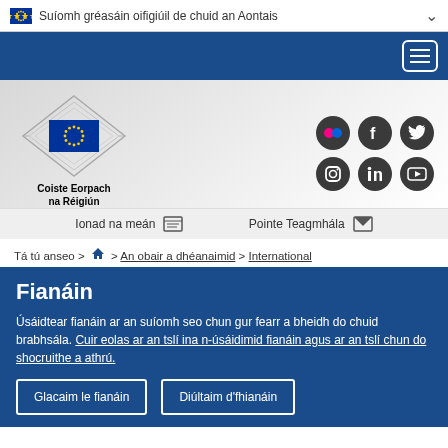Suíomh gréasáin oifigiúil de chuid an Aontais
[Figure (logo): EU flag and Committee of the Regions logo with text 'Coiste Eorpach na Réigiún']
[Figure (infographic): Social media icons: Flickr, Facebook, Twitter, Instagram, LinkedIn, YouTube]
Ionad na meán   Pointe Teagmhála
Tá tú anseo > 🏠 > An obair a dhéanaimid > International
Fianáin
Úsáidtear fianáin ar an suíomh seo chun gur fearr a bheidh do chuid brabhsála. Cuir eolas ar an tslí ina n-úsáidimid fianáin agus ar an tslí chun do shocruithe a athrú.
Glacaim le fianáin
Diúltaim d'fhianáin